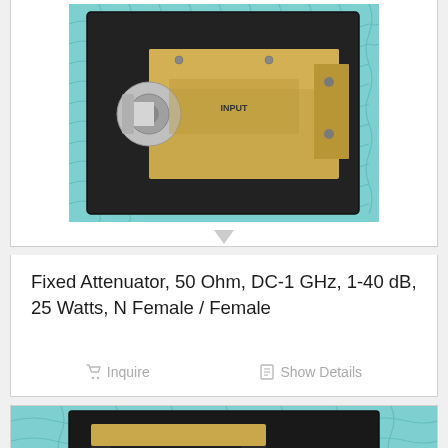[Figure (photo): Photo of a fixed attenuator device, 50 Ohm, N Female/Female connector, gold and silver metal body, on teal wavy grid background]
Fixed Attenuator, 50 Ohm, DC-1 GHz, 1-40 dB, 25 Watts, N Female / Female
Inquire
Show Details
[Figure (photo): Photo of a second fixed attenuator device, black and gold metal body with SMA connectors, on teal wavy grid background]